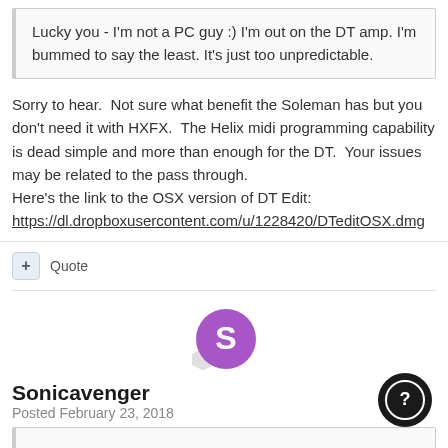Lucky you - I'm not a PC guy :) I'm out on the DT amp. I'm bummed to say the least. It's just too unpredictable.
Sorry to hear.  Not sure what benefit the Soleman has but you don't need it with HXFX.  The Helix midi programming capability is dead simple and more than enough for the DT.  Your issues may be related to the pass through.  Here's the link to the OSX version of DT Edit:
https://dl.dropboxusercontent.com/u/1228420/DTeditOSX.dmg
+ Quote
Sonicavenger
Posted February 23, 2018